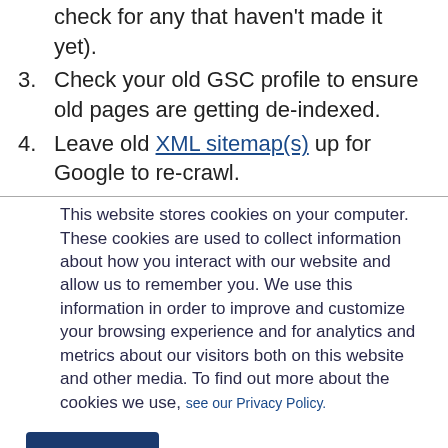check for any that haven't made it yet).
3. Check your old GSC profile to ensure old pages are getting de-indexed.
4. Leave old XML sitemap(s) up for Google to re-crawl.
This website stores cookies on your computer. These cookies are used to collect information about how you interact with our website and allow us to remember you. We use this information in order to improve and customize your browsing experience and for analytics and metrics about our visitors both on this website and other media. To find out more about the cookies we use, see our Privacy Policy.
Accept